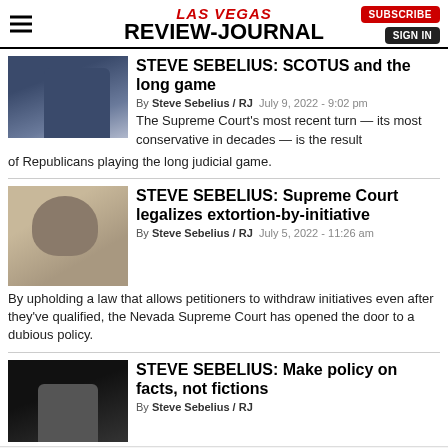LAS VEGAS REVIEW-JOURNAL
STEVE SEBELIUS: SCOTUS and the long game
By Steve Sebelius / RJ  July 9, 2022 - 9:02 pm
The Supreme Court's most recent turn — its most conservative in decades — is the result of Republicans playing the long judicial game.
STEVE SEBELIUS: Supreme Court legalizes extortion-by-initiative
By Steve Sebelius / RJ  July 5, 2022 - 11:26 am
By upholding a law that allows petitioners to withdraw initiatives even after they've qualified, the Nevada Supreme Court has opened the door to a dubious policy.
STEVE SEBELIUS: Make policy on facts, not fictions
By Steve Sebelius / RJ
[Figure (infographic): Amazon advertisement: Shop. Connect. Enjoy. Shop now ▶]